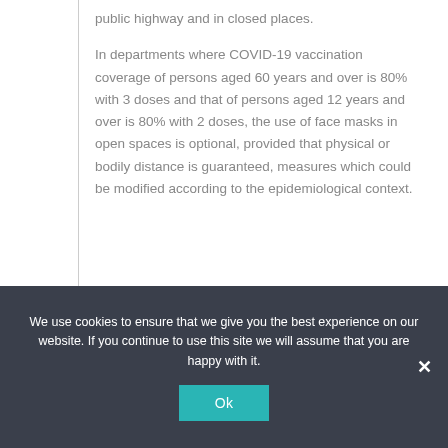public highway and in closed places.
In departments where COVID-19 vaccination coverage of persons aged 60 years and over is 80% with 3 doses and that of persons aged 12 years and over is 80% with 2 doses, the use of face masks in open spaces is optional, provided that physical or bodily distance is guaranteed, measures which could be modified according to the epidemiological context.
We use cookies to ensure that we give you the best experience on our website. If you continue to use this site we will assume that you are happy with it.